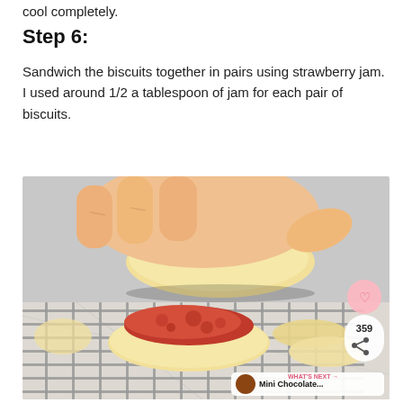cool completely.
Step 6:
Sandwich the biscuits together in pairs using strawberry jam. I used around 1/2 a tablespoon of jam for each pair of biscuits.
[Figure (photo): A hand placing a round shortbread biscuit on top of another biscuit covered with red strawberry jam, on a metal wire cooling rack on a marble surface. More biscuits visible in the background. Social sharing overlay with heart icon (359) and share button. A 'What's Next' thumbnail shows 'Mini Chocolate...']